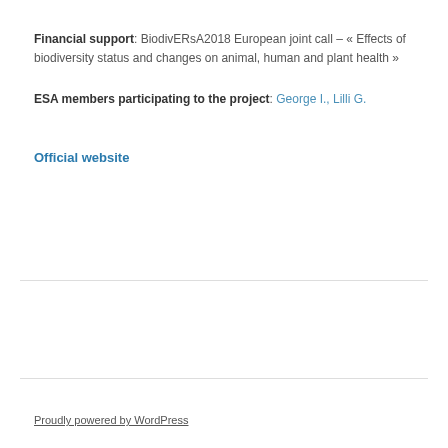Financial support: BiodivERsA2018 European joint call – « Effects of biodiversity status and changes on animal, human and plant health »
ESA members participating to the project: George I., Lilli G.
Official website
Proudly powered by WordPress